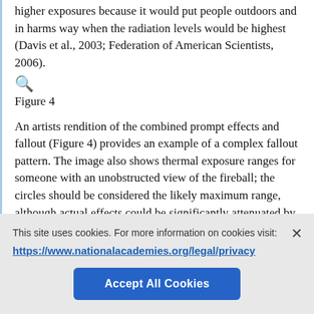higher exposures because it would put people outdoors and in harm's way when the radiation levels would be highest (Davis et al., 2003; Federation of American Scientists, 2006).
[Figure (other): Zoom/magnify icon (magnifying glass with plus sign)]
Figure 4
An artist's rendition of the combined prompt effects and fallout (Figure 4) provides an example of a complex fallout pattern. The image also shows thermal exposure ranges for someone with an unobstructed view of the fireball; the circles should be considered the likely maximum range, although actual effects could be significantly attenuated by intervening buildings. The fallout pattern in this figure (the shaded areas northeast
This site uses cookies. For more information on cookies visit:
https://www.nationalacademies.org/legal/privacy
Accept All Cookies